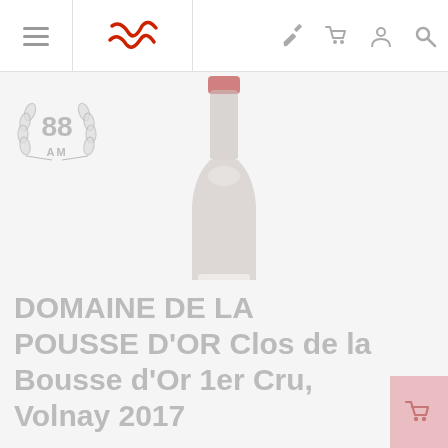Navigation bar with menu, logo, auction, cart, account, and search icons
[Figure (other): Score badge showing '88 AM' inside a laurel wreath, silver/grey coloring]
[Figure (photo): Wine bottle - Domaine de la Pousse d'Or Clos de la Bousse d'Or 1er Cru, Volnay 2017, shown upright with white label, red foil capsule, on grey background]
DOMAINE DE LA POUSSE D'OR Clos de la Bousse d'Or 1er Cru, Volnay 2017